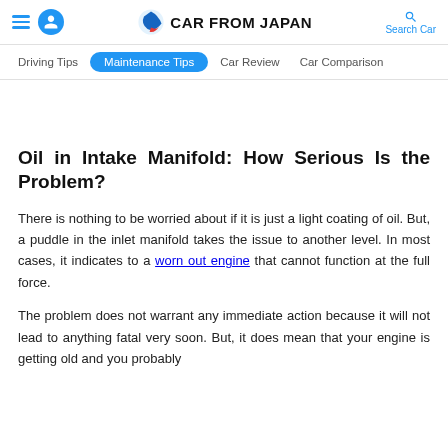CAR FROM JAPAN — Driving Tips | Maintenance Tips | Car Review | Car Comparison
Oil in Intake Manifold: How Serious Is the Problem?
There is nothing to be worried about if it is just a light coating of oil. But, a puddle in the inlet manifold takes the issue to another level. In most cases, it indicates to a worn out engine that cannot function at the full force.
The problem does not warrant any immediate action because it will not lead to anything fatal very soon. But, it does mean that your engine is getting old and you probably have to do some work on it — it will be better to